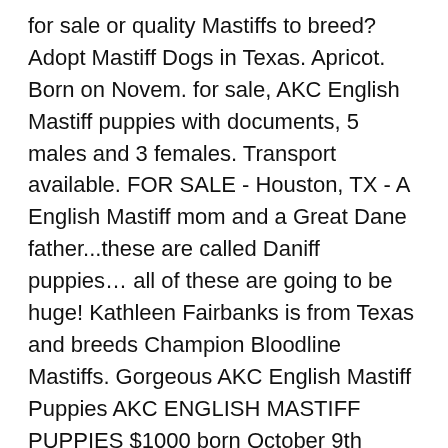for sale or quality Mastiffs to breed? Adopt Mastiff Dogs in Texas. Apricot. Born on Novem. for sale, AKC English Mastiff puppies with documents, 5 males and 3 females. Transport available. FOR SALE - Houston, TX - A English Mastiff mom and a Great Dane father...these are called Daniff puppies… all of these are going to be huge! Kathleen Fairbanks is from Texas and breeds Champion Bloodline Mastiffs. Gorgeous AKC English Mastiff Puppies AKC ENGLISH MASTIFF PUPPIES $1000 born October 9th parents on site AKC registered Brindle. I have 7 beautiful puppies for sale three brindle boys and … They grow to be about 140 to 170 pounds. Navigation. More informations. 3 males and 4 females of which 5 are Fawns and 2 are Apricots. If you are looking for puppies for sale or a particular stud dog in your area you can also check our puppies for sale and